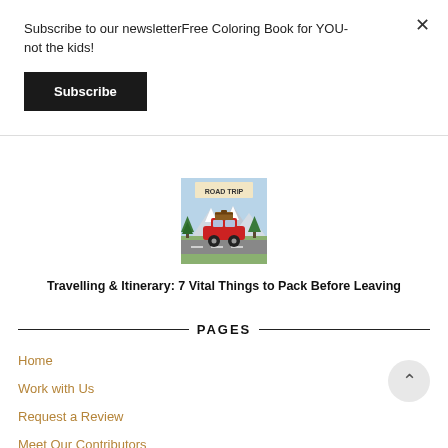Subscribe to our newsletterFree Coloring Book for YOU- not the kids!
Subscribe
[Figure (illustration): Road trip illustration showing a red car with luggage on top driving on a road with mountains in the background, labeled 'ROAD TRIP']
Travelling & Itinerary: 7 Vital Things to Pack Before Leaving
PAGES
Home
Work with Us
Request a Review
Meet Our Contributors